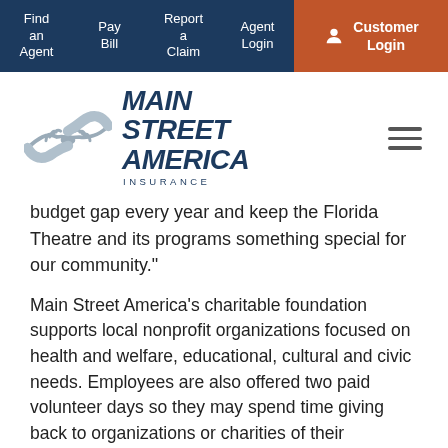Find an Agent | Pay Bill | Report a Claim | Agent Login | Customer Login
[Figure (logo): Main Street America Insurance logo with handshake graphic]
budget gap every year and keep the Florida Theatre and its programs something special for our community."
Main Street America's charitable foundation supports local nonprofit organizations focused on health and welfare, educational, cultural and civic needs. Employees are also offered two paid volunteer days so they may spend time giving back to organizations or charities of their choosing. Learn more about Main Street America's charitable giving here: Community